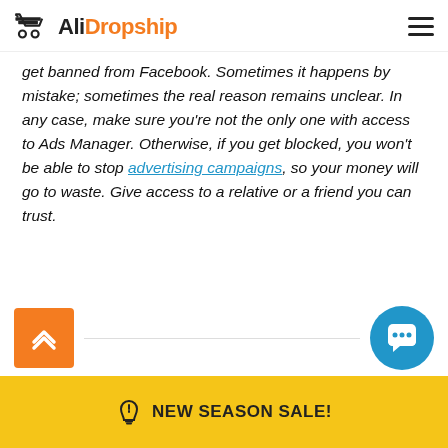AliDropship
get banned from Facebook. Sometimes it happens by mistake; sometimes the real reason remains unclear. In any case, make sure you're not the only one with access to Ads Manager. Otherwise, if you get blocked, you won't be able to stop advertising campaigns, so your money will go to waste. Give access to a relative or a friend you can trust.
NEW SEASON SALE!